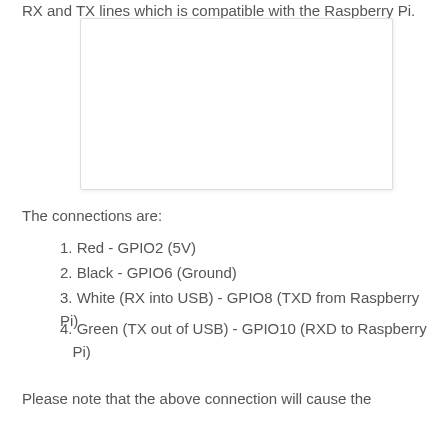RX and TX lines which is compatible with the Raspberry Pi.
[Figure (photo): A blank white rectangular image placeholder, likely showing a USB to serial cable connection diagram or photo.]
The connections are:
1. Red - GPIO2 (5V)
2. Black - GPIO6 (Ground)
3. White (RX into USB) - GPIO8 (TXD from Raspberry Pi)
4. Green (TX out of USB) - GPIO10 (RXD to Raspberry Pi)
Please note that the above connection will cause the